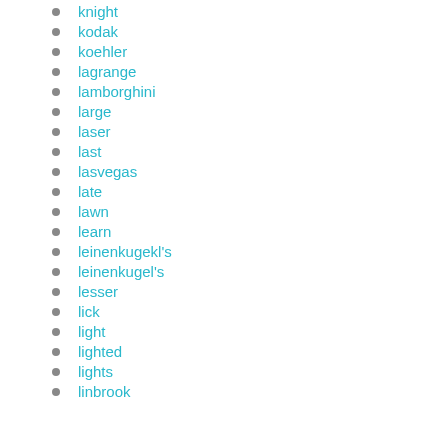knight
kodak
koehler
lagrange
lamborghini
large
laser
last
lasvegas
late
lawn
learn
leinenkugekl's
leinenkugel's
lesser
lick
light
lighted
lights
linbrook